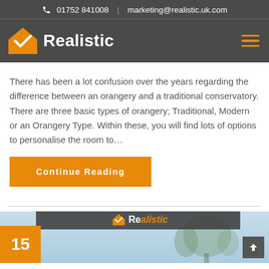01752 841008  |  marketing@realistic.uk.com
[Figure (logo): Realistic logo: orange house with checkmark icon, white bold text 'Realistic', hamburger menu icon on right]
There has been a lot confusion over the years regarding the difference between an orangery and a traditional conservatory. There are three basic types of orangery; Traditional, Modern or an Orangery Type. Within these, you will find lots of options to personalise the room to…
Continue Reading
[Figure (photo): Bottom strip showing Realistic storefront/building with orange badge showing '15', Realistic logo on building facade, trees in background]